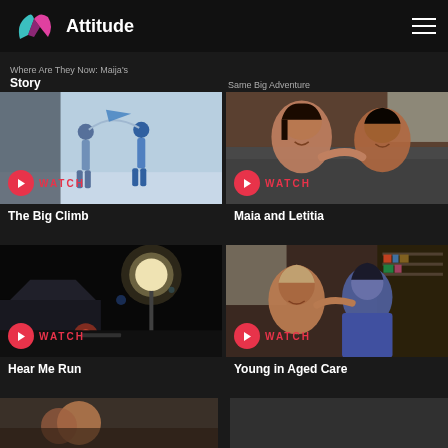Attitude
Where Are They Now: Maija's Story  Same Big Adventure
[Figure (screenshot): Video thumbnail showing two children on a snowy landscape holding up a rope or flag. WATCH button overlay.]
The Big Climb
[Figure (screenshot): Video thumbnail showing two women laughing together on a couch. WATCH button overlay.]
Maia and Letitia
[Figure (screenshot): Video thumbnail showing a dark nighttime scene with a bright light. WATCH button overlay.]
Hear Me Run
[Figure (screenshot): Video thumbnail showing two people smiling together indoors. WATCH button overlay.]
Young in Aged Care
[Figure (screenshot): Partial video thumbnail at bottom of page, cut off.]